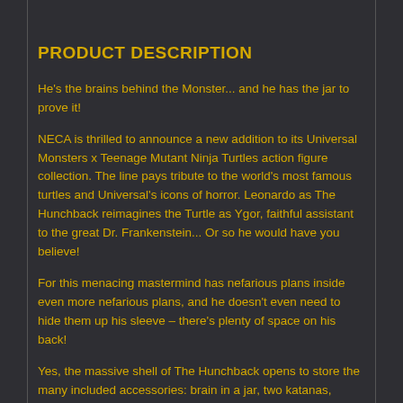PRODUCT DESCRIPTION
He's the brains behind the Monster... and he has the jar to prove it!
NECA is thrilled to announce a new addition to its Universal Monsters x Teenage Mutant Ninja Turtles action figure collection. The line pays tribute to the world's most famous turtles and Universal's icons of horror. Leonardo as The Hunchback reimagines the Turtle as Ygor, faithful assistant to the great Dr. Frankenstein... Or so he would have you believe!
For this menacing mastermind has nefarious plans inside even more nefarious plans, and he doesn't even need to hide them up his sleeve – there's plenty of space on his back!
Yes, the massive shell of The Hunchback opens to store the many included accessories: brain in a jar, two katanas, interchangeable hands, shovels, bone,